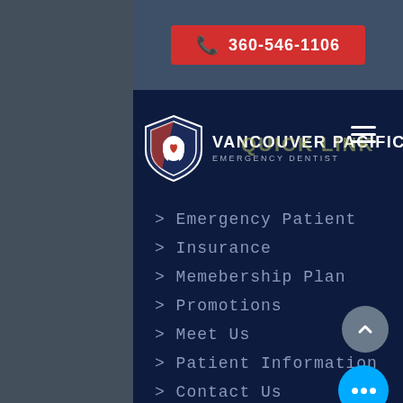[Figure (screenshot): Vancouver Pacific Emergency Dentist website navigation screenshot showing phone number button, logo, and quick link menu items]
360-546-1106
[Figure (logo): Vancouver Pacific Emergency Dentist shield logo with tooth and heart icon]
VANCOUVER PACIFIC EMERGENCY DENTIST
QUICK LINK
> Emergency Patient
> Insurance
> Memebership Plan
> Promotions
> Meet Us
> Patient Information
> Contact Us
> Dental Services
> Dental Cleaning and Exam
> Smile Makeover
> Dental Implants
> Dental Restorations